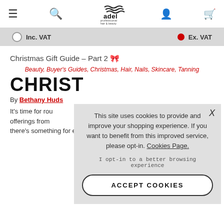[Figure (logo): Adel Professional hair & beauty logo with wavy lines above text]
Inc. VAT   Ex. VAT
Christmas Gift Guide – Part 2 🎀
Beauty, Buyer's Guides, Christmas, Hair, Nails, Skincare, Tanning
CHRIST
By Bethany Huds
It's time for rou offerings from there's something for everyone this season
This site uses cookies to provide and improve your shopping experience. If you want to benefit from this improved service, please opt-in. Cookies Page.
I opt-in to a better browsing experience
ACCEPT COOKIES